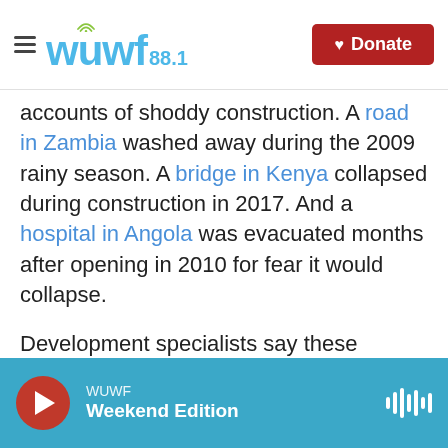WUWF 88.1 | Donate
accounts of shoddy construction. A road in Zambia washed away during the 2009 rainy season. A bridge in Kenya collapsed during construction in 2017. And a hospital in Angola was evacuated months after opening in 2010 for fear it would collapse.
Development specialists say these accounts are concerning, yet some leaders of recipient countries still voice their preference for working with China. Their argument is that China is a "one-stop shop," not only financing projects but building them as well. Often, it's cheaper and faster to work with
WUWF | Weekend Edition